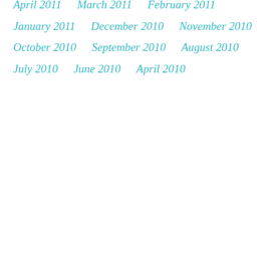April 2011
March 2011
February 2011
January 2011
December 2010
November 2010
October 2010
September 2010
August 2010
July 2010
June 2010
April 2010